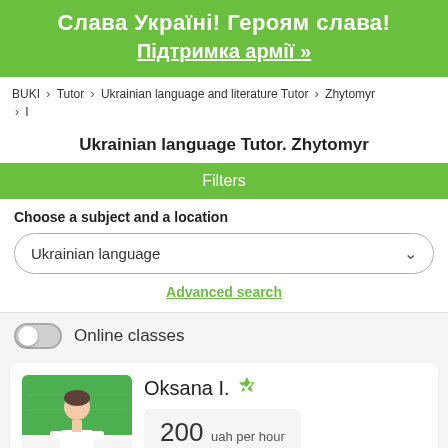Слава Україні! Героям слава!
Підтримка армії »
BUKI > Tutor > Ukrainian language and literature Tutor > Zhytomyr > І
Ukrainian language Tutor. Zhytomyr
Filters
Choose a subject and a location
Ukrainian language
Advanced search
Online classes
Oksana I.
200 uah per hour